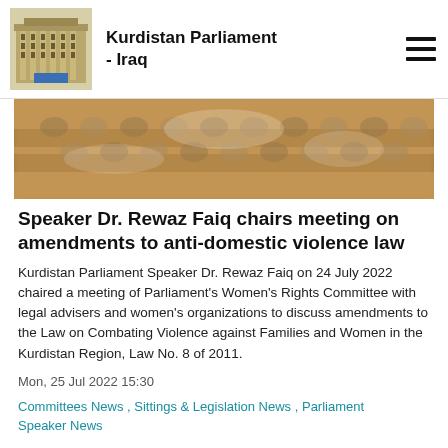Kurdistan Parliament - Iraq
[Figure (photo): Blurred photo of a parliamentary meeting hall with people seated around tables]
Speaker Dr. Rewaz Faiq chairs meeting on amendments to anti-domestic violence law
Kurdistan Parliament Speaker Dr. Rewaz Faiq on 24 July 2022 chaired a meeting of Parliament's Women's Rights Committee with legal advisers and women's organizations to discuss amendments to the Law on Combating Violence against Families and Women in the Kurdistan Region, Law No. 8 of 2011.
Mon, 25 Jul 2022 15:30
Committees News , Sittings & Legislation News , Parliament Speaker News